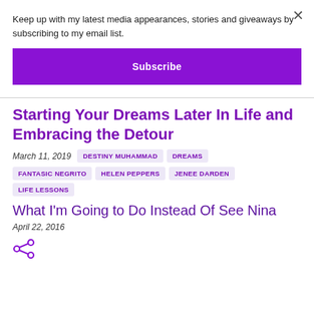Keep up with my latest media appearances, stories and giveaways by subscribing to my email list.
Subscribe
Starting Your Dreams Later In Life and Embracing the Detour
March 11, 2019
DESTINY MUHAMMAD
DREAMS
FANTASIC NEGRITO
HELEN PEPPERS
JENEE DARDEN
LIFE LESSONS
What I'm Going to Do Instead Of See Nina
April 22, 2016